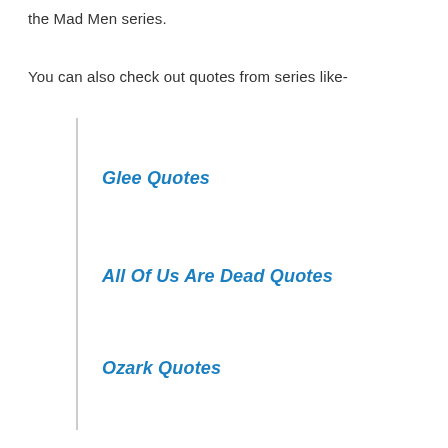the Mad Men series.
You can also check out quotes from series like-
Glee Quotes
All Of Us Are Dead Quotes
Ozark Quotes
Arrow Quotes